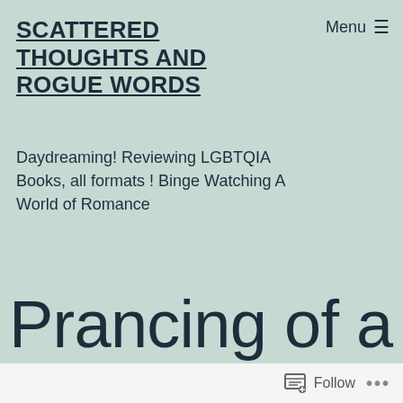SCATTERED THOUGHTS AND ROGUE WORDS
Menu ≡
Daydreaming! Reviewing LGBTQIA Books, all formats ! Binge Watching A World of Romance
Prancing of a
Follow ...